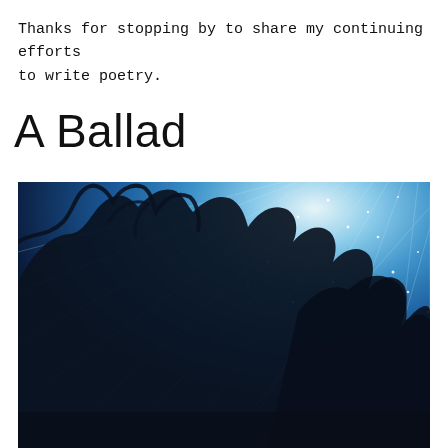Thanks for stopping by to share my continuing efforts to write poetry.
A Ballad
[Figure (photo): Night sky photograph looking up through tree silhouettes. The sky shows a deep blue gradient with radiating light rays and scattered stars, with dark tree branches and leaves framing the left and bottom portions of the image.]